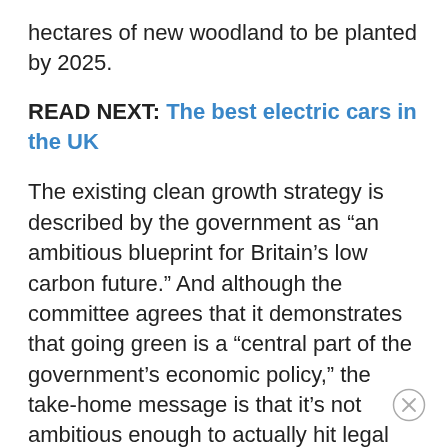hectares of new woodland to be planted by 2025.
READ NEXT: The best electric cars in the UK
The existing clean growth strategy is described by the government as “an ambitious blueprint for Britain’s low carbon future.” And although the committee agrees that it demonstrates that going green is a “central part of the government’s economic policy,” the take-home message is that it’s not ambitious enough to actually hit legal targets.